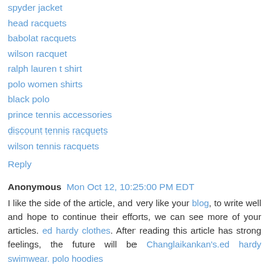spyder jacket
head racquets
babolat racquets
wilson racquet
ralph lauren t shirt
polo women shirts
black polo
prince tennis accessories
discount tennis racquets
wilson tennis racquets
Reply
Anonymous  Mon Oct 12, 10:25:00 PM EDT
I like the side of the article, and very like your blog, to write well and hope to continue their efforts, we can see more of your articles. ed hardy clothes. After reading this article has strong feelings, the future will be Changlaikankan's.ed hardy swimwear. polo hoodies
ed hardy jeans
ed hardy
ed hardy clothing